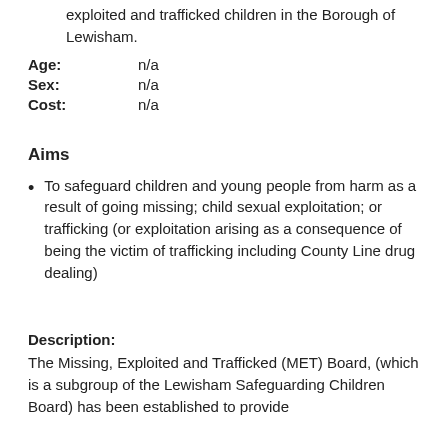exploited and trafficked children in the Borough of Lewisham.
Age: n/a
Sex: n/a
Cost: n/a
Aims
To safeguard children and young people from harm as a result of going missing; child sexual exploitation; or trafficking (or exploitation arising as a consequence of being the victim of trafficking including County Line drug dealing)
Description:
The Missing, Exploited and Trafficked (MET) Board, (which is a subgroup of the Lewisham Safeguarding Children Board) has been established to provide